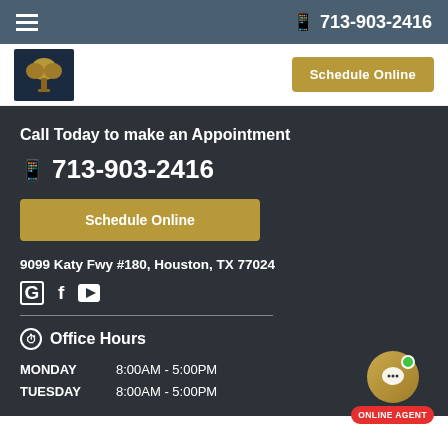713-903-2416
[Figure (logo): Tree logo on dark blue background]
Call Today to make an Appointment
713-903-2416
Schedule Online
9099 Katy Fwy #180, Houston, TX 77024
G f (YouTube icon)
Office Hours
MONDAY   8:00AM - 5:00PM
TUESDAY   8:00AM - 5:00PM